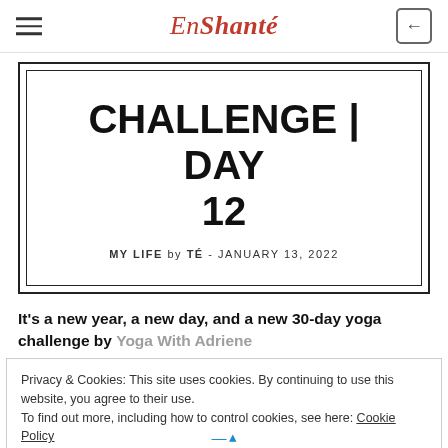EnShanté
CHALLENGE | DAY 12
MY LIFE by TÉ - JANUARY 13, 2022
It's a new year, a new day, and a new 30-day yoga challenge by Yoga With Adriene
Privacy & Cookies: This site uses cookies. By continuing to use this website, you agree to their use.
To find out more, including how to control cookies, see here: Cookie Policy
Close and accept